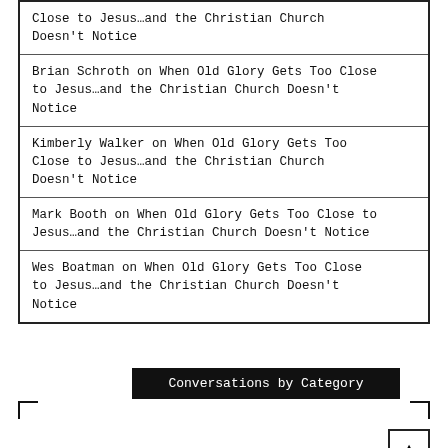Close to Jesus…and the Christian Church Doesn't Notice
Brian Schroth on When Old Glory Gets Too Close to Jesus…and the Christian Church Doesn't Notice
Kimberly Walker on When Old Glory Gets Too Close to Jesus…and the Christian Church Doesn't Notice
Mark Booth on When Old Glory Gets Too Close to Jesus…and the Christian Church Doesn't Notice
Wes Boatman on When Old Glory Gets Too Close to Jesus…and the Christian Church Doesn't Notice
Conversations by Category
grace and love